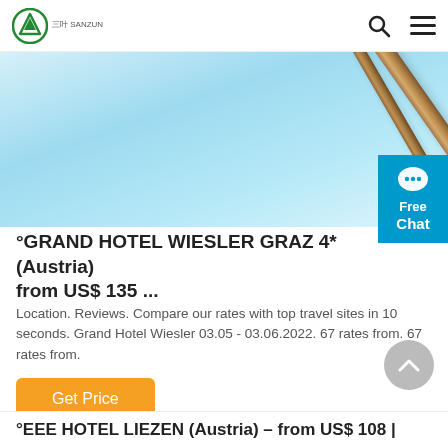SANZUN logo with search and menu icons
[Figure (photo): Hero image showing needle-like metallic objects (possibly tweezers or pins) on a light blue background]
°GRAND HOTEL WIESLER GRAZ 4* (Austria) from US$ 135 ...
Location. Reviews. Compare our rates with top travel sites in 10 seconds. Grand Hotel Wiesler 03.05 - 03.06.2022. 67 rates from. 67 rates from.
Get Price
°EEE HOTEL LIEZEN (Austria) – from US$ 108 |